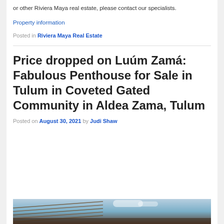or other Riviera Maya real estate, please contact our specialists.
Property information
Posted in Riviera Maya Real Estate
Price dropped on Luúm Zamá: Fabulous Penthouse for Sale in Tulum in Coveted Gated Community in Aldea Zama, Tulum
Posted on August 30, 2021 by Judi Shaw
[Figure (photo): Interior photo of a penthouse with thatched roof ceiling and sky view]